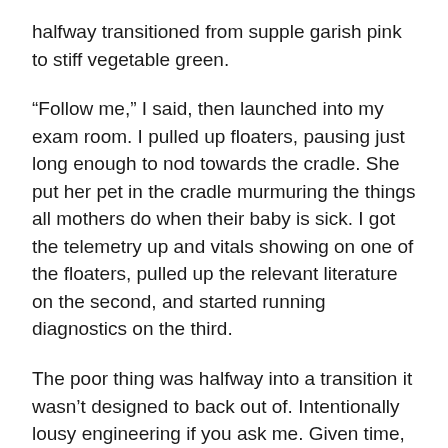halfway transitioned from supple garish pink to stiff vegetable green.
“Follow me,” I said, then launched into my exam room. I pulled up floaters, pausing just long enough to nod towards the cradle. She put her pet in the cradle murmuring the things all mothers do when their baby is sick. I got the telemetry up and vitals showing on one of the floaters, pulled up the relevant literature on the second, and started running diagnostics on the third.
The poor thing was halfway into a transition it wasn’t designed to back out of. Intentionally lousy engineering if you ask me. Given time, reverse engineering the process wouldn’t be difficult. Unfortunately, time was something this